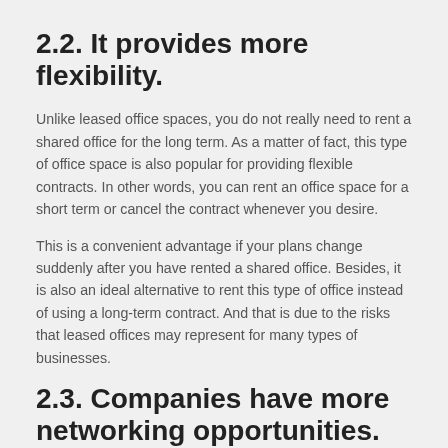2.2. It provides more flexibility.
Unlike leased office spaces, you do not really need to rent a shared office for the long term. As a matter of fact, this type of office space is also popular for providing flexible contracts. In other words, you can rent an office space for a short term or cancel the contract whenever you desire.
This is a convenient advantage if your plans change suddenly after you have rented a shared office. Besides, it is also an ideal alternative to rent this type of office instead of using a long-term contract. And that is due to the risks that leased offices may represent for many types of businesses.
2.3. Companies have more networking opportunities.
Another important benefit that investors can enjoy is increasing their networking chances due to the collaborative environment of